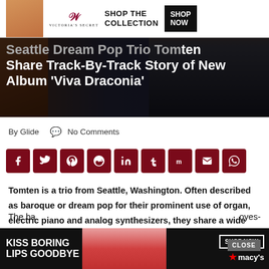[Figure (photo): Hero image showing a couple, overlaid with Victoria's Secret ad banner and dark overlay with article title]
Seattle Dream Pop Trio Tomten Share Track-By-Track Story of New Album 'Viva Draconia'
By Glide   No Comments
[Figure (infographic): Row of 9 dark red social share buttons: Facebook, Twitter, Pinterest, Reddit, LinkedIn, Tumblr, Mix, Email, WhatsApp]
Tomten is a trio from Seattle, Washington. Often described as baroque or dream pop for their prominent use of organ, electric piano and analog synthesizers, they share a wide influence from early power-pop to electric folk.
The ba...oyes-
[Figure (photo): Bottom Macy's advertisement: 'Kiss Boring Lips Goodbye' with woman's face and Shop Now button]